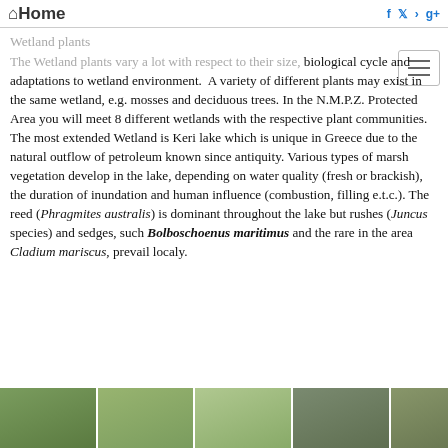Home
Wetland plants
The Wetland plants vary a lot with respect to their size, biological cycle and adaptations to wetland environment. A variety of different plants may exist in the same wetland, e.g. mosses and deciduous trees. In the N.M.P.Z. Protected Area you will meet 8 different wetlands with the respective plant communities. The most extended Wetland is Keri lake which is unique in Greece due to the natural outflow of petroleum known since antiquity. Various types of marsh vegetation develop in the lake, depending on water quality (fresh or brackish), the duration of inundation and human influence (combustion, filling e.t.c.). The reed (Phragmites australis) is dominant throughout the lake but rushes (Juncus species) and sedges, such Bolboschoenus maritimus and the rare in the area Cladium mariscus, prevail localy.
[Figure (photo): Strip of five wetland landscape photos at the bottom of the page]